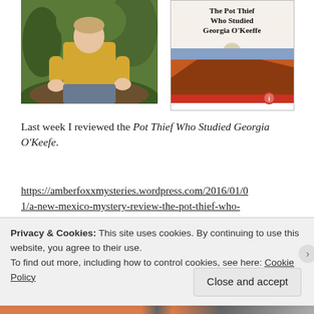[Figure (photo): Author photo: man in yellow shirt sitting outdoors among green foliage]
[Figure (illustration): Book cover: 'The Pot Thief Who Studied Georgia O'Keeffe' with desert landscape and skull imagery]
Last week I reviewed the Pot Thief Who Studied Georgia O'Keefe.
https://amberfoxxmysteries.wordpress.com/2016/01/01/a-new-mexico-mystery-review-the-pot-thief-who-
Privacy & Cookies: This site uses cookies. By continuing to use this website, you agree to their use.
To find out more, including how to control cookies, see here: Cookie Policy
Close and accept